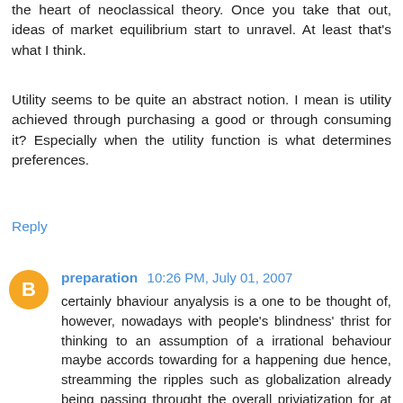the heart of neoclassical theory. Once you take that out, ideas of market equilibrium start to unravel. At least that's what I think.
Utility seems to be quite an abstract notion. I mean is utility achieved through purchasing a good or through consuming it? Especially when the utility function is what determines preferences.
Reply
preparation  10:26 PM, July 01, 2007
certainly bhaviour anyalysis is a one to be thought of, however, nowadays with people's blindness' thrist for thinking to an assumption of a irrational behaviour maybe accords towarding for a happening due hence, streamming the ripples such as globalization already being passing throught the overall priviatization for at least a developing country or nation. Currently, it is more about one's psycho path like his/her religion affair thence, in order to minize the war and violence.